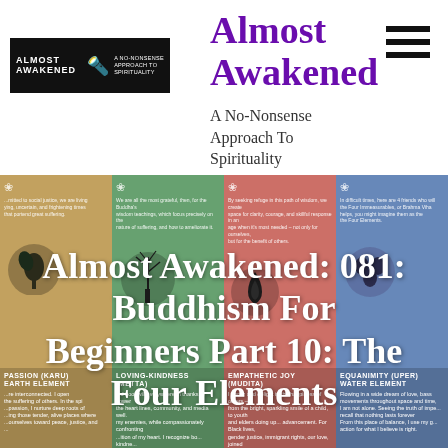[Figure (logo): Almost Awakened logo: black rectangle with white text 'ALMOST AWAKENED', a small torch icon, and 'A NO-NONSENSE APPROACH TO SPIRITUALITY']
Almost Awakened
A No-Nonsense Approach To Spirituality
[Figure (illustration): Main banner image showing four colored panels (gold/earth, green/loving-kindness, red/empathetic joy, blue/equanimity) with a large Buddha statue face in the center and symbolic icons. Overlaid with large white bold title text: 'Almost Awakened: 081: Buddhism For Beginners Part 10: The Four Elements'. Bottom strip shows four element labels: PASSION (KARU) EARTH ELEMENT, LOVING-KINDNESS (METTA), EMPATHETIC JOY (MUDITA), EQUANIMITY (UPER) WATER ELEMENT]